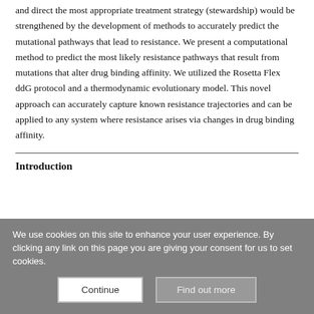and direct the most appropriate treatment strategy (stewardship) would be strengthened by the development of methods to accurately predict the mutational pathways that lead to resistance. We present a computational method to predict the most likely resistance pathways that result from mutations that alter drug binding affinity. We utilized the Rosetta Flex ddG protocol and a thermodynamic evolutionary model. This novel approach can accurately capture known resistance trajectories and can be applied to any system where resistance arises via changes in drug binding affinity.
Introduction
We use cookies on this site to enhance your user experience. By clicking any link on this page you are giving your consent for us to set cookies.